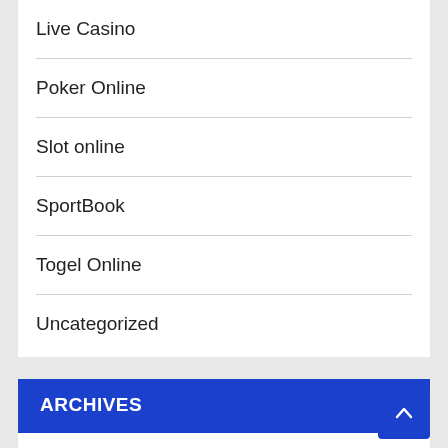Live Casino
Poker Online
Slot online
SportBook
Togel Online
Uncategorized
ARCHIVES
August 2022